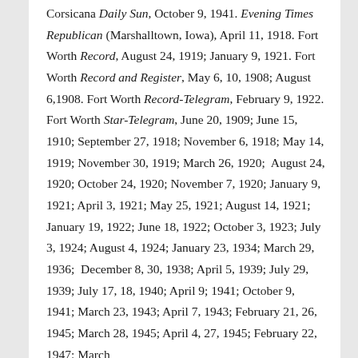Corsicana Daily Sun, October 9, 1941. Evening Times Republican (Marshalltown, Iowa), April 11, 1918. Fort Worth Record, August 24, 1919; January 9, 1921. Fort Worth Record and Register, May 6, 10, 1908; August 6,1908. Fort Worth Record-Telegram, February 9, 1922. Fort Worth Star-Telegram, June 20, 1909; June 15, 1910; September 27, 1918; November 6, 1918; May 14, 1919; November 30, 1919; March 26, 1920;  August 24, 1920; October 24, 1920; November 7, 1920; January 9, 1921; April 3, 1921; May 25, 1921; August 14, 1921; January 19, 1922; June 18, 1922; October 3, 1923; July 3, 1924; August 4, 1924; January 23, 1934; March 29, 1936;  December 8, 30, 1938; April 5, 1939; July 29, 1939; July 17, 18, 1940; April 9; 1941; October 9, 1941; March 23, 1943; April 7, 1943; February 21, 26, 1945; March 28, 1945; April 4, 27, 1945; February 22, 1947; March